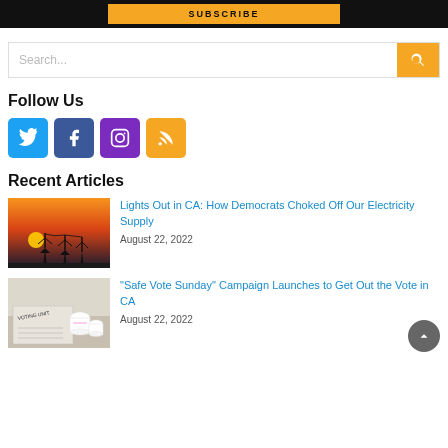SUBSCRIBE
Search...
Follow Us
[Figure (infographic): Social media icon buttons: Twitter (blue), Facebook (dark blue), Instagram (purple), RSS (orange)]
Recent Articles
[Figure (photo): Sunset silhouette of electrical power transmission towers]
Lights Out in CA: How Democrats Choked Off Our Electricity Supply
August 22, 2022
[Figure (photo): Voting unit ballot box with coffee mugs on a table]
"Safe Vote Sunday" Campaign Launches to Get Out the Vote in CA
August 22, 2022